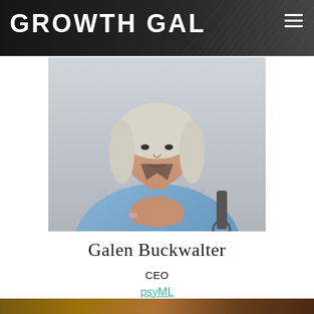GROWTH GAL
[Figure (photo): Portrait photo of Galen Buckwalter, a person with long white/grey hair wearing a blue checkered shirt, seated in a wheelchair with hands clasped together. Gray background.]
Galen Buckwalter
CEO
psyML